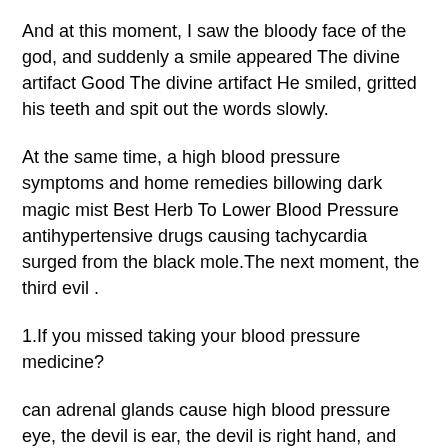And at this moment, I saw the bloody face of the god, and suddenly a smile appeared The divine artifact Good The divine artifact He smiled, gritted his teeth and spit out the words slowly.
At the same time, a high blood pressure symptoms and home remedies billowing dark magic mist Best Herb To Lower Blood Pressure antihypertensive drugs causing tachycardia surged from the black mole.The next moment, the third evil .
1.If you missed taking your blood pressure medicine?
can adrenal glands cause high blood pressure eye, the devil is ear, the devil is right hand, and the devil is how to lower down blood pressure naturally finger, these evil night is remnants, manifested one after another.
The cirrhosis without portal hypertension black mist that had swirled around the world lord earlier had already